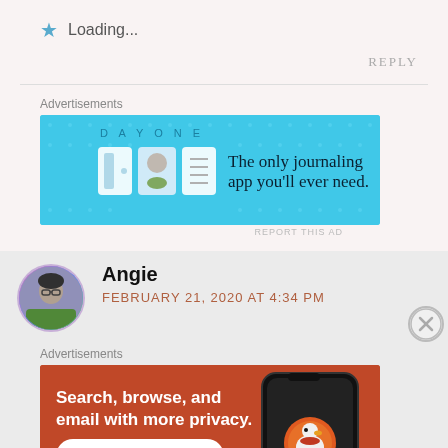★ Loading...
REPLY
Advertisements
[Figure (illustration): DayOne app advertisement banner with blue background showing three app icons and text 'The only journaling app you'll ever need.']
REPORT THIS AD
Angie
FEBRUARY 21, 2020 AT 4:34 PM
Advertisements
[Figure (illustration): DuckDuckGo advertisement on orange/red background. Text: 'Search, browse, and email with more privacy. All in One Free App' with a phone showing DuckDuckGo logo.]
REPORT THIS AD